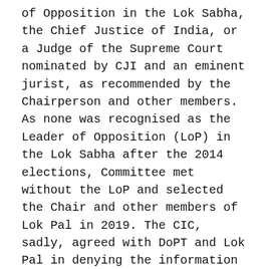of Opposition in the Lok Sabha, the Chief Justice of India, or a Judge of the Supreme Court nominated by CJI and an eminent jurist, as recommended by the Chairperson and other members. As none was recognised as the Leader of Opposition (LoP) in the Lok Sabha after the 2014 elections, Committee met without the LoP and selected the Chair and other members of Lok Pal in 2019. The CIC, sadly, agreed with DoPT and Lok Pal in denying the information without reasoned application of any exception.
***
Courtesy; Hans News Service | 15 Feb 2021
(Author Dr. Madabhushi Sridhar Acharyulu was a Professor at Nalsar University of Law in Hyderabad, former Central Information